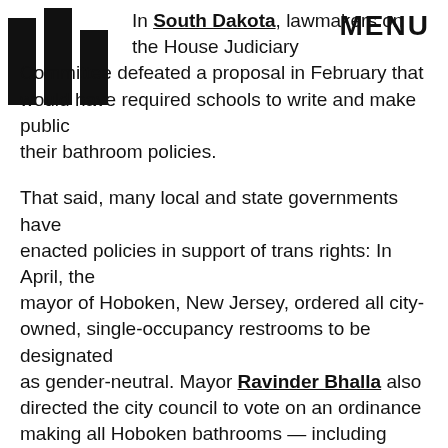MENU
In South Dakota, lawmakers on the House Judiciary Committee defeated a proposal in February that would have required schools to write and make public their bathroom policies.
That said, many local and state governments have enacted policies in support of trans rights: In April, the mayor of Hoboken, New Jersey, ordered all city-owned, single-occupancy restrooms to be designated as gender-neutral. Mayor Ravinder Bhalla also directed the city council to vote on an ordinance making all Hoboken bathrooms — including ones in privately owned buildings — accessible to all gender identities.